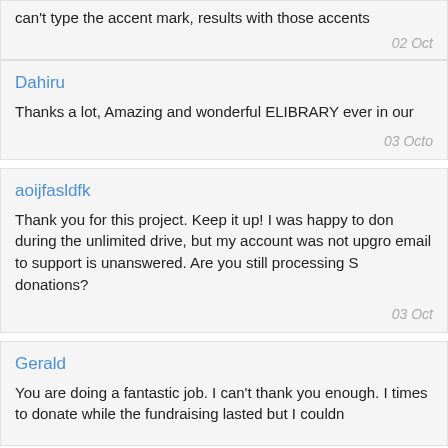can't type the accent mark, results with those accents...
02 Oct
Dahiru
Thanks a lot, Amazing and wonderful ELIBRARY ever in our
03 Octo
aoijfasldfk
Thank you for this project. Keep it up! I was happy to don during the unlimited drive, but my account was not upgro email to support is unanswered. Are you still processing S donations?
03 Oct
Gerald
You are doing a fantastic job. I can't thank you enough. I times to donate while the fundraising lasted but I couldn